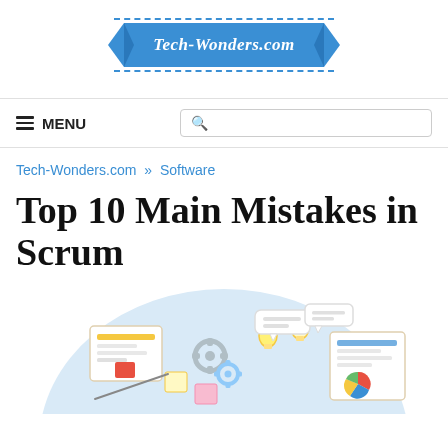Tech-Wonders.com
≡ MENU
Tech-Wonders.com » Software
Top 10 Main Mistakes in Scrum
[Figure (illustration): Scrum-themed illustration showing a light blue circle background with cartoon depictions of Scrum boards, sticky notes, gears, lightbulbs, and a pie chart — representing Agile/Scrum project management workflow.]